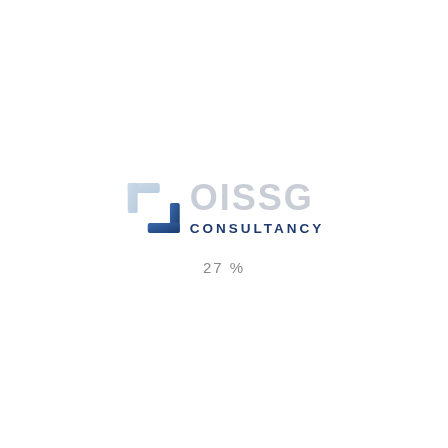[Figure (logo): OISSG Consultancy logo with stylized S-shaped icon in light blue and dark blue gradient, with text OISSG in light gray and CONSULTANCY in dark navy blue]
27%